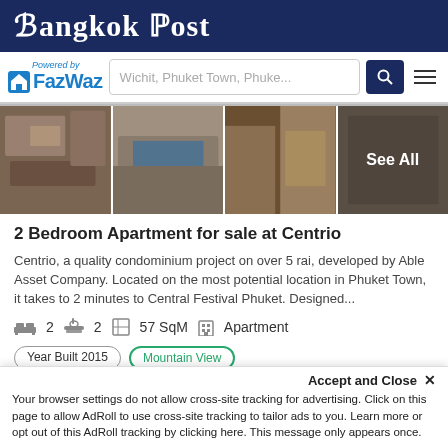Bangkok Post
[Figure (logo): FazWaz logo with 'Powered by' text and search bar showing 'Wichit, Phuket Town, Phuke...']
[Figure (photo): Four apartment/bedroom photos in a horizontal strip with 'See All' overlay on last panel]
2 Bedroom Apartment for sale at Centrio
Centrio, a quality condominium project on over 5 rai, developed by Able Asset Company. Located on the most potential location in Phuket Town, it takes to 2 minutes to Central Festival Phuket. Designed...
2  2  57 SqM  Apartment
Year Built 2015  Mountain View
CAM Fee: ฿1,710/mo
Accept and Close ✕
Your browser settings do not allow cross-site tracking for advertising. Click on this page to allow AdRoll to use cross-site tracking to tailor ads to you. Learn more or opt out of this AdRoll tracking by clicking here. This message only appears once.